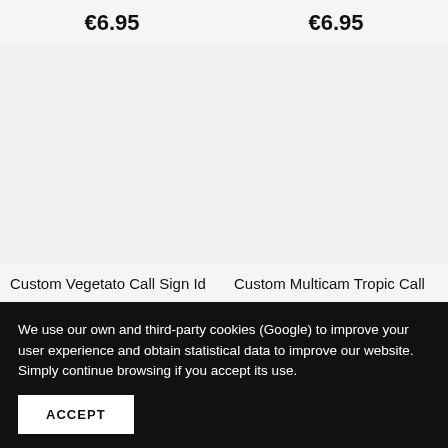€6.95
€6.95
[Figure (photo): Product image placeholder left - Custom Vegetato Call Sign Id]
[Figure (photo): Product image placeholder right - Custom Multicam Tropic Call]
Custom Vegetato Call Sign Id
Custom Multicam Tropic Call
We use our own and third-party cookies (Google) to improve your user experience and obtain statistical data to improve our website. Simply continue browsing if you accept its use.
ACCEPT